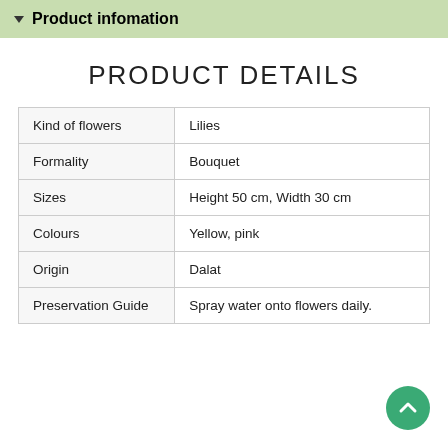Product infomation
PRODUCT DETAILS
| Kind of flowers | Lilies |
| Formality | Bouquet |
| Sizes | Height 50 cm, Width 30 cm |
| Colours | Yellow, pink |
| Origin | Dalat |
| Preservation Guide | Spray water onto flowers daily. |